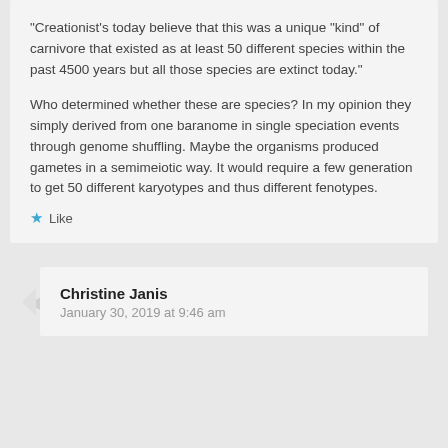“Creationist’s today believe that this was a unique “kind” of carnivore that existed as at least 50 different species within the past 4500 years but all those species are extinct today.”
Who determined whether these are species? In my opinion they simply derived from one baranome in single speciation events through genome shuffling. Maybe the organisms produced gametes in a semimeiotic way. It would require a few generation to get 50 different karyotypes and thus different fenotypes.
Like
Christine Janis
January 30, 2019 at 9:46 am